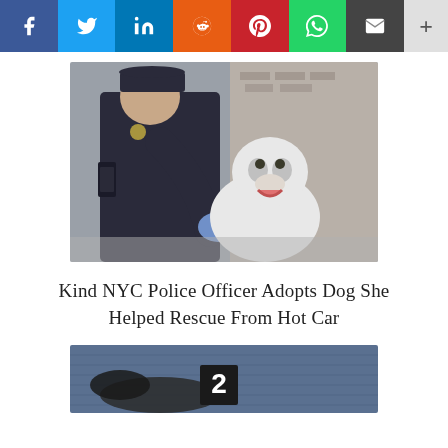Social share bar: Facebook, Twitter, LinkedIn, Reddit, Pinterest, WhatsApp, Email, More
[Figure (photo): An NYPD police officer wearing blue latex gloves kneeling down and attending to a white husky dog outdoors. The officer is in dark uniform with a holster visible.]
Kind NYC Police Officer Adopts Dog She Helped Rescue From Hot Car
[Figure (photo): Partial view of a second photo showing what appears to be a dog on a blue surface with the number 2 visible.]